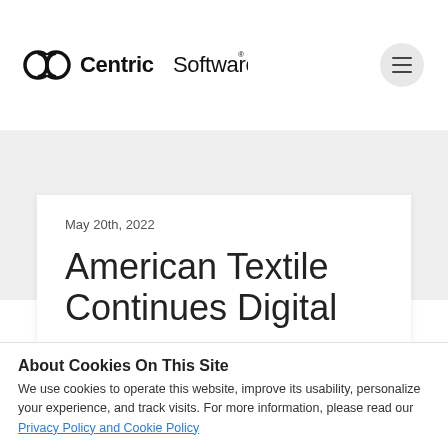[Figure (logo): Centric Software logo — double-circle infinity-like icon followed by 'CentricSoftware' wordmark in black]
May 20th, 2022
American Textile Continues Digital
About Cookies On This Site
We use cookies to operate this website, improve its usability, personalize your experience, and track visits. For more information, please read our Privacy Policy and Cookie Policy